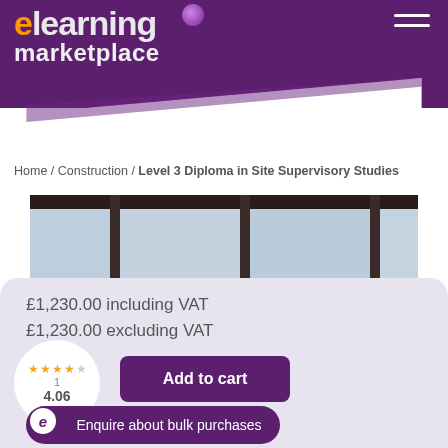elearning marketplace
Home / Construction / Level 3 Diploma in Site Supervisory Studies
[Figure (photo): Construction site interior with glass panels and metal frames]
£1,230.00 including VAT
£1,230.00 excluding VAT
4.06 rating, 1 review, 4 stars
Add to cart
Enquire about bulk purchases